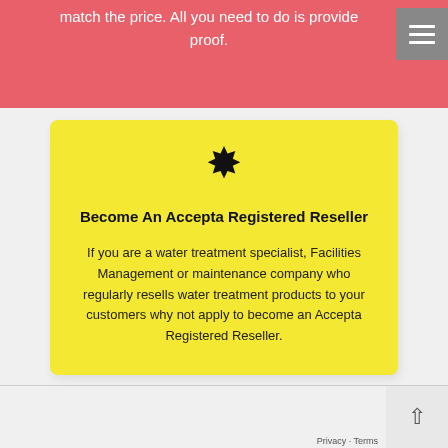match the price. All you need to do is provide proof.
Become An Accepta Registered Reseller
If you are a water treatment specialist, Facilities Management or maintenance company who regularly resells water treatment products to your customers why not apply to become an Accepta Registered Reseller.